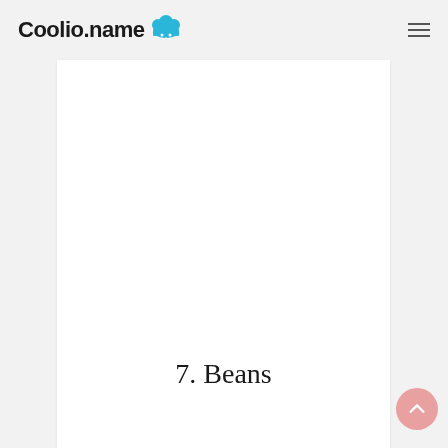Coolio.name
[Figure (other): White rectangular content/ad area placeholder]
7. Beans